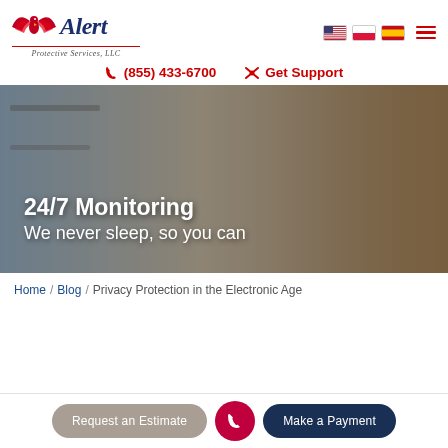[Figure (logo): Alert Protective Services LLC logo with red eagle wings and dark blue italic text 'Alert', subtitle 'Protective Services, LLC']
(855) 433-6700
Get Support
[Figure (photo): Woman in brown sweater using a tablet in a kitchen, hero banner image with overlay text '24/7 Monitoring - We never sleep, so you can']
Home / Blog / Privacy Protection in the Electronic Age
Request an Estimate
Make a Payment